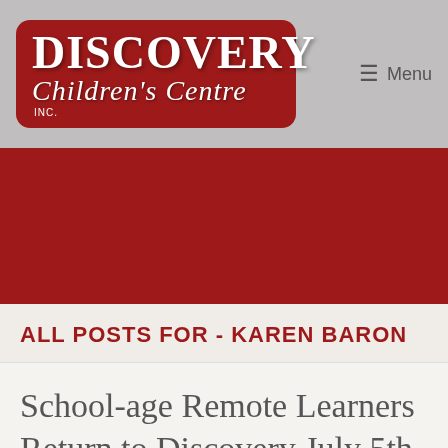[Figure (logo): Discovery Children's Centre Inc. logo — white text on red rounded rectangle, placed on gray header bar with Menu button top right]
≡ Menu
ALL POSTS FOR - KAREN BARON
School-age Remote Learners Return to Discovery July 5th